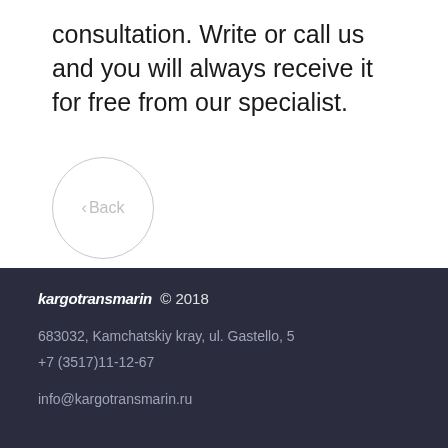consultation. Write or call us and you will always receive it for free from our specialist.
[Figure (other): A circular back navigation button with a left-pointing chevron and the label 'Back']
kargotransmarin © 2018
683032, Kamchatskiy kray, ul. Gastello, 5
+7 (3517)11-12-67
info@kargotransmarin.ru